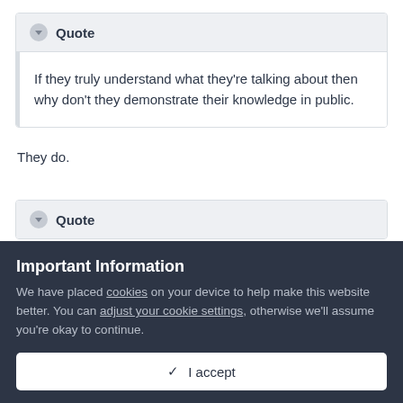Quote
If they truly understand what they're talking about then why don't they demonstrate their knowledge in public.
They do.
Quote
Important Information
We have placed cookies on your device to help make this website better. You can adjust your cookie settings, otherwise we'll assume you're okay to continue.
I accept